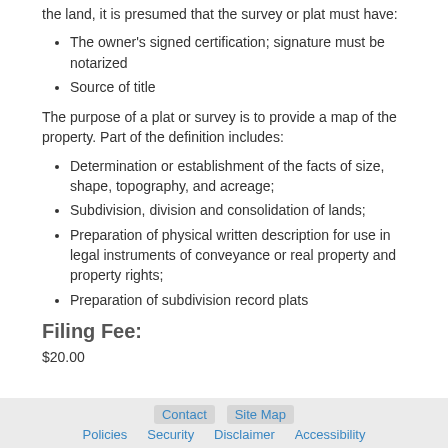the land, it is presumed that the survey or plat must have:
The owner's signed certification; signature must be notarized
Source of title
The purpose of a plat or survey is to provide a map of the property. Part of the definition includes:
Determination or establishment of the facts of size, shape, topography, and acreage;
Subdivision, division and consolidation of lands;
Preparation of physical written description for use in legal instruments of conveyance or real property and property rights;
Preparation of subdivision record plats
Filing Fee:
$20.00
Contact  Site Map  Policies  Security  Disclaimer  Accessibility